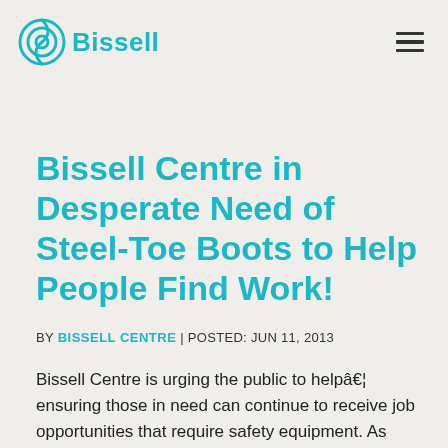Bissell
Bissell Centre in Desperate Need of Steel-Toe Boots to Help People Find Work!
BY BISSELL CENTRE | POSTED: JUN 11, 2013
Bissell Centre is urging the public to help… ensuring those in need can continue to receive job opportunities that require safety equipment. As construction season